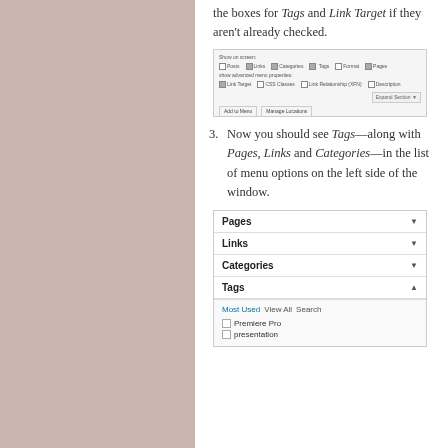the boxes for Tags and Link Target if they aren't already checked.
[Figure (screenshot): WordPress menu settings screenshot showing checkboxes for Posts, Links, Categories, Tags, Format, Pages, with Show advanced menu properties including Link Target, CSS Classes, Link Relationship (XFN), Description. Bottom buttons: Add to Menu, Manage Locations.]
3. Now you should see Tags—along with Pages, Links and Categories—in the list of menu options on the left side of the window.
[Figure (screenshot): WordPress admin panel showing menu options list with Pages, Links, Categories, Tags (expanded). Tags section shows Most Used | View All | Search tabs, with checkboxes for Premiere Pro and presentation.]